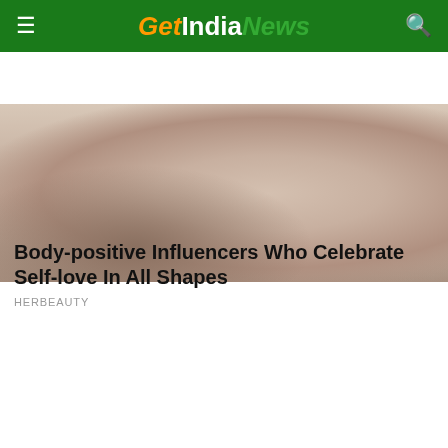Get India News
[Figure (photo): Woman in a shimmery dress, body-positive themed image]
Body-positive Influencers Who Celebrate Self-love In All Shapes
HERBEAUTY
[Figure (photo): A man in a black shirt and a woman in a yellow outfit smiling together on a TV set]